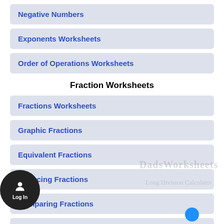Negative Numbers
Exponents Worksheets
Order of Operations Worksheets
Fraction Worksheets
Fractions Worksheets
Graphic Fractions
Equivalent Fractions
Reducing Fractions
Comparing Fractions
Adding Fractions
Subtracting Fractions
Multiplying Fractions
Dividing Fractions
Fractions as Decimals